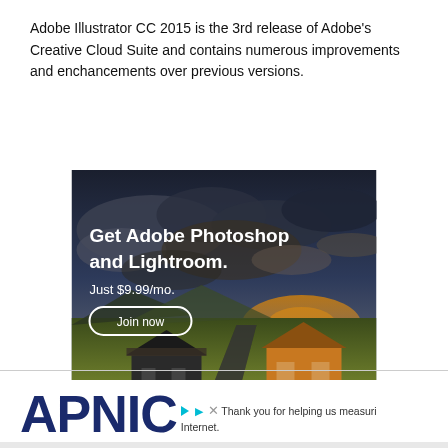Adobe Illustrator CC 2015 is the 3rd release of Adobe's Creative Cloud Suite and contains numerous improvements and enchancements over previous versions.
[Figure (photo): Adobe advertisement showing a scenic landscape with two houses, dramatic cloudy sky, and text: 'Get Adobe Photoshop and Lightroom. Just $9.99/mo.' with a 'Join now' button. Adobe logo and 'Preset: Cinematic' text at bottom.]
[Figure (logo): APNIC logo in dark navy blue large bold text, with text 'Thank you for helping us measure the Internet.' alongside a play icon and close X button.]